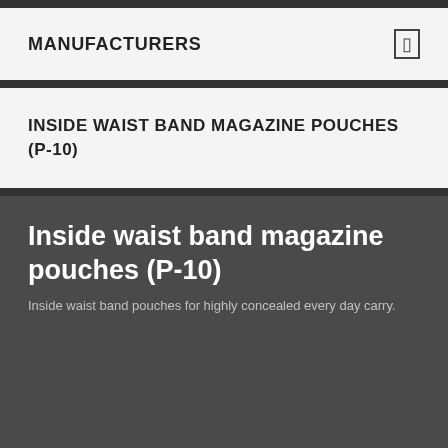MANUFACTURERS
INSIDE WAIST BAND MAGAZINE POUCHES (P-10)
Inside waist band magazine pouches (P-10)
Inside waist band pouches for highly concealed every day carry.